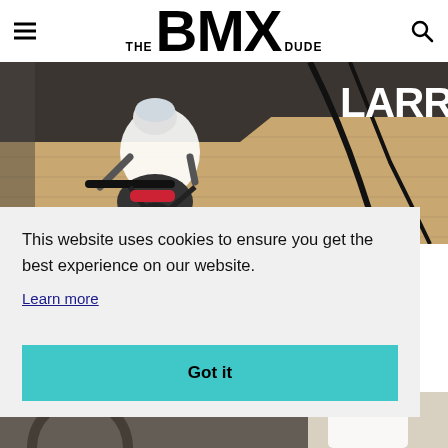THE BMX DUDE
[Figure (photo): BMX rider wearing helmet performing trick on a wooden ramp/halfpipe, with partially visible text 'LARRY' in white bold letters on the right side of the image]
This website uses cookies to ensure you get the best experience on our website.
Learn more
Got it
[Figure (photo): Partial view of bottom of page showing more BMX related imagery]